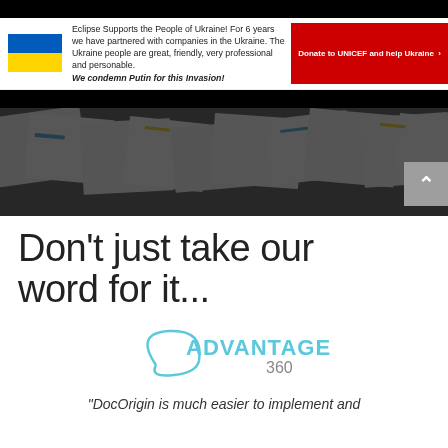[Figure (infographic): Ukraine support banner with Ukrainian flag, text about Eclipse supporting Ukraine, italic bold condemnation of Putin, and red Donate to UNICEF button]
[Figure (photo): Dark overlay hero banner image showing scattered documents and forms]
Don't just take our word for it...
[Figure (logo): Advantage360 logo with curved swoosh and text ADVANTAGE 360]
“DocOrigin is much easier to implement and